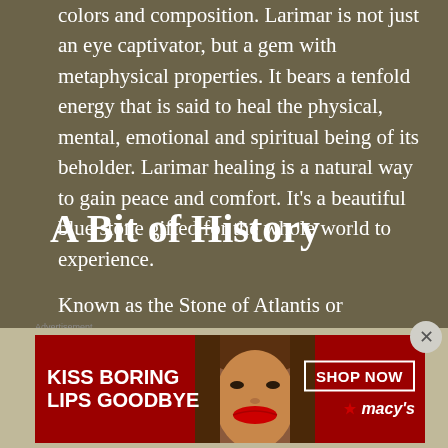colors and composition. Larimar is not just an eye captivator, but a gem with metaphysical properties. It bears a tenfold energy that is said to heal the physical, mental, emotional and spiritual being of its beholder. Larimar healing is a natural way to gain peace and comfort. It's a beautiful blue stone gifted for the whole world to experience.
A Bit of History
Known as the Stone of Atlantis or sometimes the Dolphin Stone, Larimar is a fairly recent discovery amongst gemstones. Located only on the island of Hispaniola in the Caribbean Sea of the Dominican Republic, Larimar is quickly gaining a reputation for
[Figure (photo): Advertisement banner for Macy's lip products with text 'KISS BORING LIPS GOODBYE' and 'SHOP NOW' button, showing a woman's face with red lips]